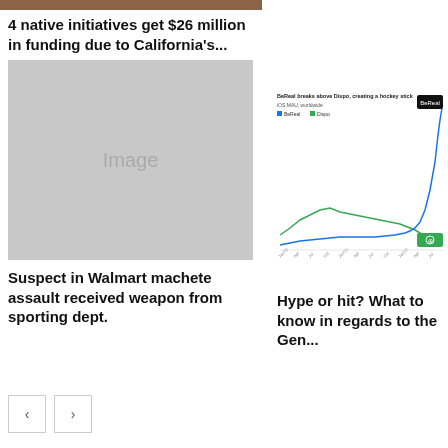[Figure (photo): Brown/earth-toned image bar at top of left column]
4 native initiatives get $26 million in funding due to California's...
[Figure (photo): Grey placeholder image block]
Suspect in Walmart machete assault received weapon from sporting dept.
[Figure (line-chart): Line chart showing BeReal (blue) vs Dispo (green) iOS MAU worldwide over time. BeReal rises sharply creating a hockey stick pattern.]
Hype or hit? What to know in regards to the Gen...